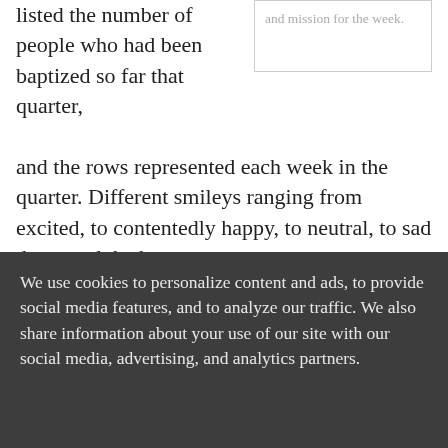listed the number of people who had been baptized so far that quarter, and the rows represented each week in the quarter. Different smileys ranging from excited, to contentedly happy, to neutral, to sad decorated the banner.
and mission for the week.
I asked the pastor to explain the chart to me. “Each Sabbath,” he said, “the church does an internal check of how they’re doing in these three areas. If they’ve done well that week with studying their Bible and prayer, they get a very happy face for that week. If they had intentionally helped build up relationships with each other and with
We use cookies to personalize content and ads, to provide social media features, and to analyze our traffic. We also share information about your use of our site with our social media, advertising, and analytics partners.